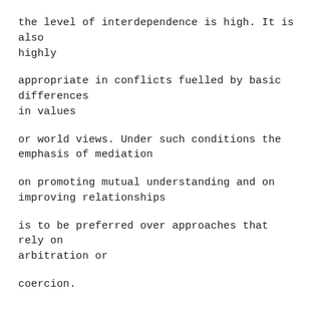the level of interdependence is high. It is also highly
appropriate in conflicts fuelled by basic differences in values
or world views. Under such conditions the emphasis of mediation
on promoting mutual understanding and on improving relationships
is to be preferred over approaches that rely on arbitration or
coercion.